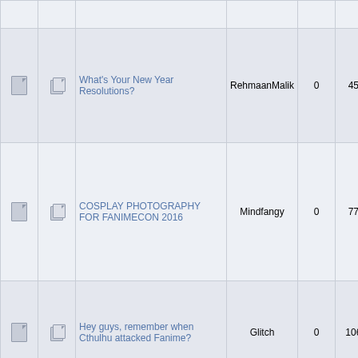|  |  | Topic | Author | Replies | Views | Last Post |
| --- | --- | --- | --- | --- | --- | --- |
|  |  | What's Your New Year Resolutions? | RehmaanMalik | 0 | 4510 | Janu 2018 01:1... by Reh... |
|  |  | COSPLAY PHOTOGRAPHY FOR FANIMECON 2016 | Mindfangy | 0 | 7747 | May 2016 07:1... by M... |
|  |  | Hey guys, remember when Cthulhu attacked Fanime? | Glitch | 0 | 10691 | Marc 2016 06:1... by G... |
|  |  | Anybody going To Anime Expo 2015? | citrus | 5 | 15413 | Janu 2016 11:5... by A... |
|  |  | Warriors of FAnimeCon | otakuya | 1 | 9681 | June 2015 10:0... by Stev... |
|  |  | Sacramento carpooling for | Yuna Kurosaki | 0 | 9358 | May 2015 12:3... |